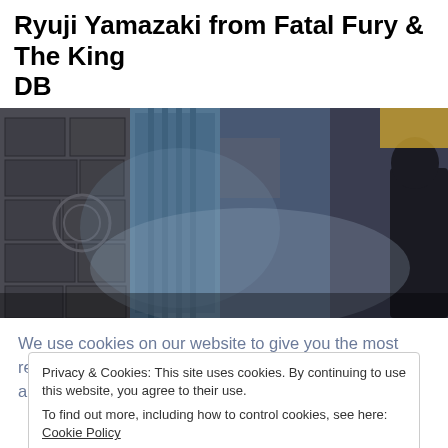Ryuji Yamazaki from Fatal Fury & The King DB
[Figure (screenshot): Screenshot of a video game scene showing a dark stone corridor/alley with a character partially visible on the right side, atmospheric blue/purple haze.]
We use cookies on our website to give you the most relevant experience by remembering your preferences and repeat
Privacy & Cookies: This site uses cookies. By continuing to use this website, you agree to their use.
To find out more, including how to control cookies, see here: Cookie Policy
Cookie Settings | OK | Close and accept